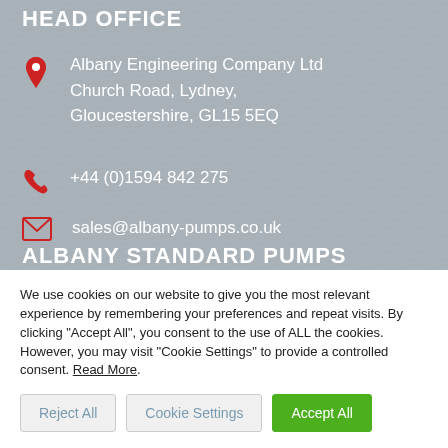HEAD OFFICE
Albany Engineering Company Ltd
Church Road, Lydney,
Gloucestershire, GL15 5EQ
+44 (0)1594 842 275
sales@albany-pumps.co.uk
ALBANY STANDARD PUMPS
We use cookies on our website to give you the most relevant experience by remembering your preferences and repeat visits. By clicking "Accept All", you consent to the use of ALL the cookies. However, you may visit "Cookie Settings" to provide a controlled consent. Read More.